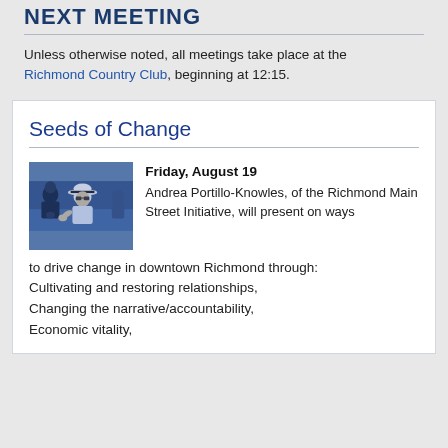NEXT MEETING
Unless otherwise noted, all meetings take place at the Richmond Country Club, beginning at 12:15.
Seeds of Change
[Figure (photo): Blue-tinted photo of two people at an outdoor event, one wearing a white panama hat and sunglasses.]
Friday, August 19
Andrea Portillo-Knowles, of the Richmond Main Street Initiative, will present on ways to drive change in downtown Richmond through:
Cultivating and restoring relationships,
Changing the narrative/accountability,
Economic vitality,